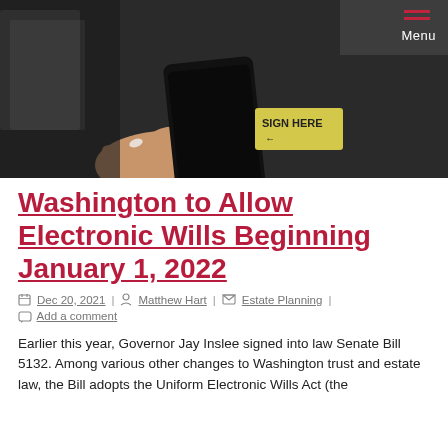[Figure (photo): A hand holding a black smartphone with a yellow sticky note reading 'SIGN HERE' with an arrow, against a dark background with papers.]
Washington to Allow Electronic Wills Beginning January 1, 2022
Dec 20, 2021 | Matthew Hart | Estate Planning | Add a comment
Earlier this year, Governor Jay Inslee signed into law Senate Bill 5132. Among various other changes to Washington trust and estate law, the Bill adopts the Uniform Electronic Wills Act (the